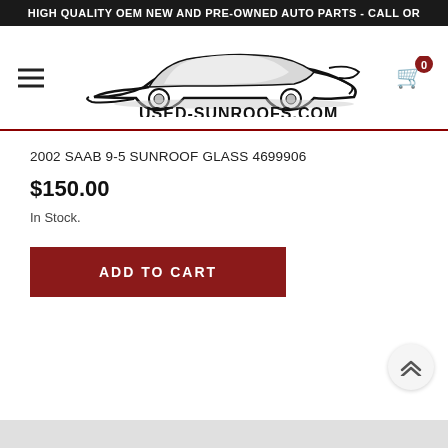HIGH QUALITY OEM NEW AND PRE-OWNED AUTO PARTS - CALL OR
[Figure (logo): Used-Sunroofs.com logo with stylized car silhouette and text USED-SUNROOFS.COM]
2002 SAAB 9-5 SUNROOF GLASS 4699906
$150.00
In Stock.
ADD TO CART